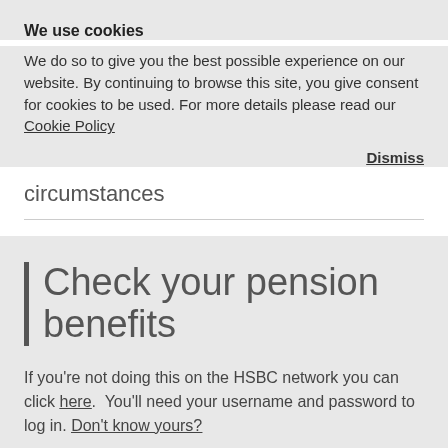We use cookies
We do so to give you the best possible experience on our website. By continuing to browse this site, you give consent for cookies to be used. For more details please read our Cookie Policy
Dismiss
circumstances
Check your pension benefits
If you're not doing this on the HSBC network you can click here. You'll need your username and password to log in. Don't know yours?